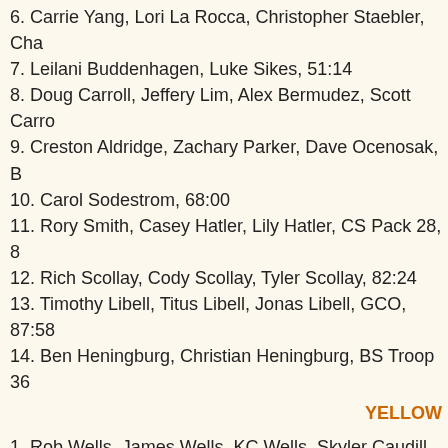6. Carrie Yang, Lori La Rocca, Christopher Staebler, Cha…
7. Leilani Buddenhagen, Luke Sikes, 51:14
8. Doug Carroll, Jeffery Lim, Alex Bermudez, Scott Carro…
9. Creston Aldridge, Zachary Parker, Dave Ocenosak, BS…
10. Carol Sodestrom, 68:00
11. Rory Smith, Casey Hatler, Lily Hatler, CS Pack 28, 8…
12. Rich Scollay, Cody Scollay, Tyler Scollay, 82:24
13. Timothy Libell, Titus Libell, Jonas Libell, GCO, 87:58
14. Ben Heningburg, Christian Heningburg, BS Troop 36…
YELLOW
1. Rob Wells, James Wells, KC Wells, Skyler Caudill, Tea…
2. Daniel Roberts, GCO, 57:19
3. Glenn Hermanson, Bill Robison, 58:08
4. Ted Datanagan, Rodney Glasgow, BS Troop 139 Yolo…
5. Brandon Hein, Gabriel Gutierrez, BS Troop 139 Yolo, …
6. Ken Roe, Mike Folly, GCO, 70:45
7. Sarah Miller, Elizabeth Miller, 98:47
8. Mark Savarese, Joan Saverese, 119:40
Christine Roberts, Joshua Roberts, GCO, DNF
Autumn Lulla, Zoë Lulla, Hannah Lulla, DNF
SECOND COURSE
Frank Slattery, Maria Thompson, 66:02